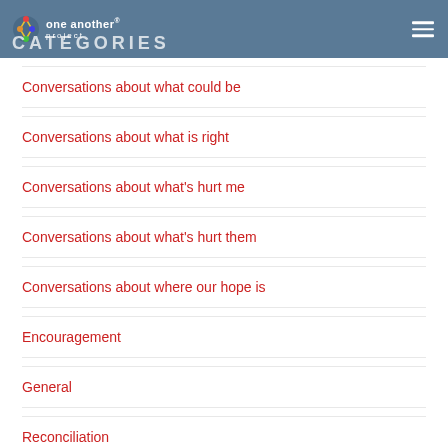CATEGORIES
Conversations about what could be
Conversations about what is right
Conversations about what's hurt me
Conversations about what's hurt them
Conversations about where our hope is
Encouragement
General
Reconciliation
META
Log in